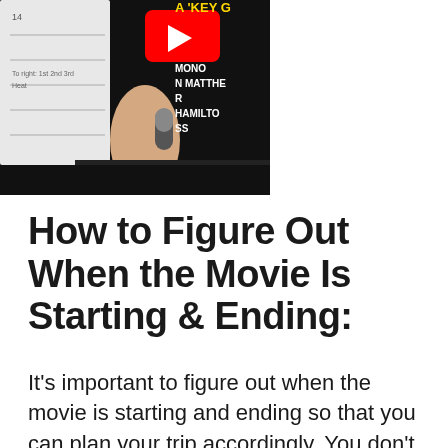[Figure (screenshot): YouTube video thumbnail showing a person in a black t-shirt holding a microphone, with a YouTube play button icon visible in the upper area and text partially visible reading 'A KEY G', 'MONO', 'N MATTHE', 'R', 'HAMILTO', 'SS'. A white board/chart is partially visible on the left side.]
How to Figure Out When the Movie Is Starting & Ending:
It's important to figure out when the movie is starting and ending so that you can plan your trip accordingly. You don't want to arrive late